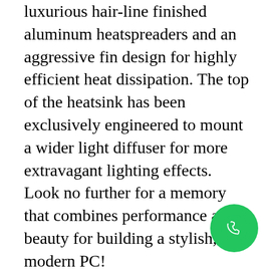luxurious hair-line finished aluminum heatspreaders and an aggressive fin design for highly efficient heat dissipation. The top of the heatsink has been exclusively engineered to mount a wider light diffuser for more extravagant lighting effects. Look no further for a memory that combines performance and beauty for building a stylish, modern PC! Trident Z means Overclocking

Each memory kit contains specially screened ICs through G.SKILL's unparalleled selection process and a custom engineered ten-layer PCB offering maximum signal stability; and every single kit is rigorously tested for reliability, compatibility, performance across a wide range of motherboards.
[Figure (other): Green circular phone/call button icon in the bottom right corner]